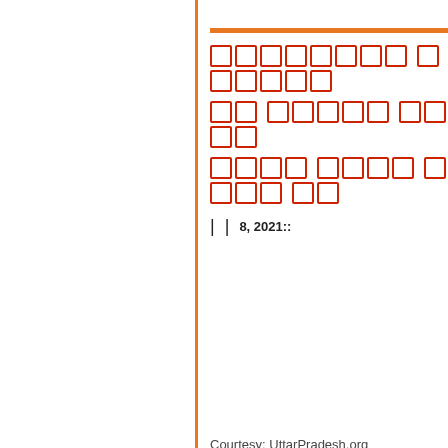Hindi title text (Devanagari script, displayed as placeholder boxes) - red colored title block
| | 8, 2021::
Courtesy: UttarPradesh.org
Share this: